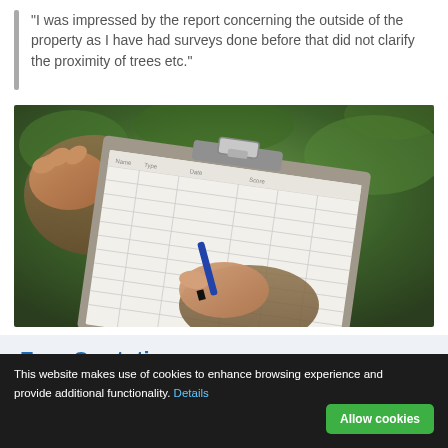“I was impressed by the report concerning the outside of the property as I have had surveys done before that did not clarify the proximity of trees etc.”
[Figure (photo): A photo of a person writing on a clipboard with a tabular form sheet, outdoors with green foliage in the background. One hand holds a pen while another hand rests near the top of the clipboard.]
Free Quotation
Please complete our free quotation form or give us a
This website makes use of cookies to enhance browsing experience and provide additional functionality. Details